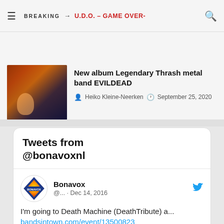BREAKING → U.D.O. – GAME OVER-
[Figure (photo): Thumbnail image of metal band artwork with fire and figures]
New album Legendary Thrash metal band EVILDEAD
Heiko Kleine-Neerken · September 25, 2020
Tweets from @bonavoxnl
[Figure (logo): Bonavox logo — diamond shield shape with BONAVOX text]
Bonavox @... · Dec 14, 2016
I'm going to Death Machine (DeathTribute) a... bandsintown.com/event/13500823 ...